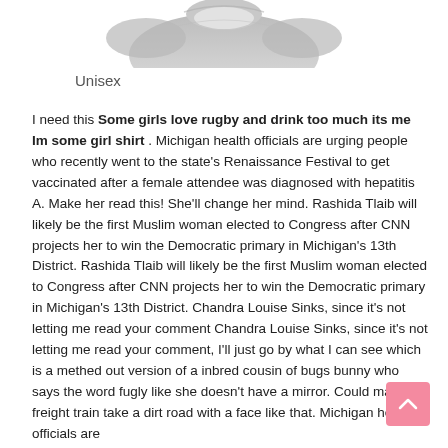[Figure (photo): Top portion of a shirt product image shown in grayscale]
Unisex
I need this Some girls love rugby and drink too much its me Im some girl shirt . Michigan health officials are urging people who recently went to the state's Renaissance Festival to get vaccinated after a female attendee was diagnosed with hepatitis A. Make her read this! She'll change her mind. Rashida Tlaib will likely be the first Muslim woman elected to Congress after CNN projects her to win the Democratic primary in Michigan's 13th District. Rashida Tlaib will likely be the first Muslim woman elected to Congress after CNN projects her to win the Democratic primary in Michigan's 13th District. Chandra Louise Sinks, since it's not letting me read your comment Chandra Louise Sinks, since it's not letting me read your comment, I'll just go by what I can see which is a methed out version of a inbred cousin of bugs bunny who says the word fugly like she doesn't have a mirror. Could make a freight train take a dirt road with a face like that. Michigan health officials are